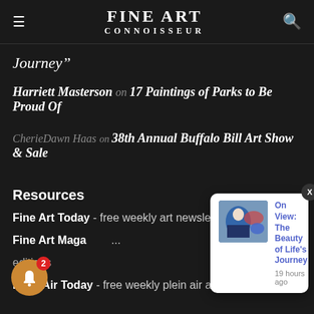FINE ART CONNOISSEUR
Journey"
Harriett Masterson on 17 Paintings of Parks to Be Proud Of
CherieDawn Haas on 38th Annual Buffalo Bill Art Show & Sale
Resources
Fine Art Today - free weekly art newsletter
Fine Art Magazine - editions
Plein Air Today - free weekly plein air art newsletter
[Figure (screenshot): Notification popup showing 'On View: The Beauty of Life's Journey' with artwork thumbnail, 19 hours ago, with X close button]
[Figure (infographic): Orange bell notification button with red badge showing 2]